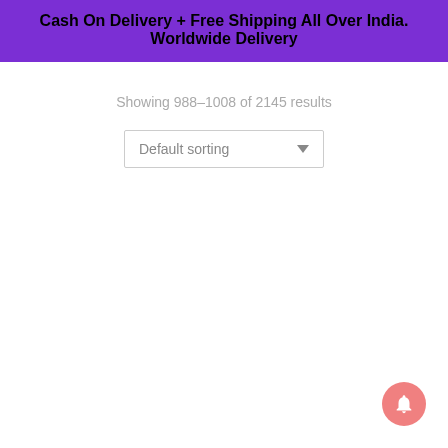Cash On Delivery + Free Shipping All Over India.
Worldwide Delivery
Showing 988–1008 of 2145 results
Default sorting